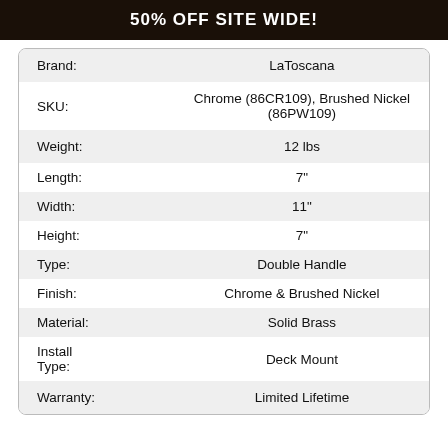50% OFF SITE WIDE!
| Attribute | Value |
| --- | --- |
| Brand: | LaToscana |
| SKU: | Chrome (86CR109), Brushed Nickel (86PW109) |
| Weight: | 12 lbs |
| Length: | 7" |
| Width: | 11" |
| Height: | 7" |
| Type: | Double Handle |
| Finish: | Chrome & Brushed Nickel |
| Material: | Solid Brass |
| Install Type: | Deck Mount |
| Warranty: | Limited Lifetime |